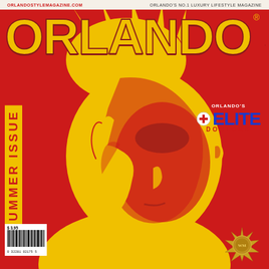ORLANDOSTYLEMAGAZINE.COM    ORLANDO'S NO.1 LUXURY LIFESTYLE MAGAZINE
ORLANDO STYLE®
SUMMER ISSUE
[Figure (illustration): Magazine cover showing a stylized two-tone red and yellow pop-art style portrait of a person resting their chin/cheek on their hand, looking upward, rendered on a red background]
ORLANDO'S
+ELITE
DOCTORS
$ 3.95
[Figure (other): Barcode at bottom left]
[Figure (logo): Gold circular seal/medallion at bottom right]